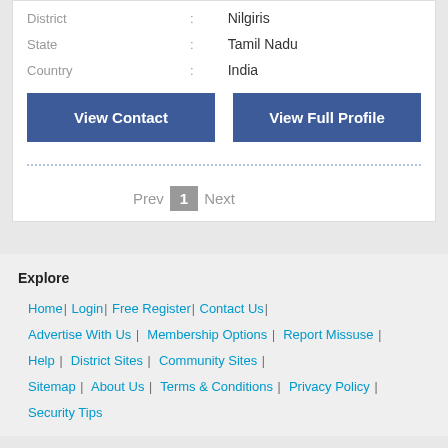| District | : | Nilgiris |
| State | : | Tamil Nadu |
| Country | : | India |
View Contact | View Full Profile
Prev 1 Next
Explore
Home | Login | Free Register | Contact Us |
Advertise With Us | Membership Options | Report Missuse |
Help | District Sites | Community Sites |
Sitemap | About Us | Terms & Conditions | Privacy Policy | Security Tips